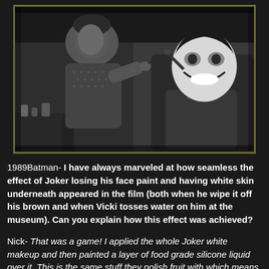[Figure (photo): Black and white behind-the-scenes photograph showing a makeup artist applying or working on the Joker makeup/face paint on an actor who is reclined in a chair, with the actor's white-painted Joker face visible. The setting appears to be a makeup room or trailer.]
1989Batman- I have always marveled at how seamless the effect of Joker losing his face paint and having white skin underneath appeared in the film (both when he wipe it off his brown and when Vicki tosses water on him at the museum). Can you explain how this effect was achieved?
Nick- That was a game! I applied the whole Joker white makeup and then painted a layer of food grade silicone liquid over it. This is the same stuff they polish fruit with which means nothing will stick to it. I then stippled on old-fashioned foam rubber grease-paint over it. There was a it